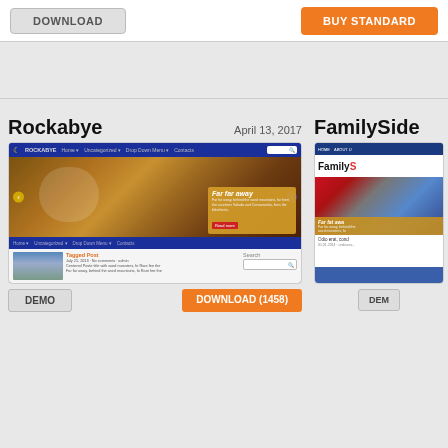[Figure (screenshot): Top partial section with DOWNLOAD button and BUY STANDARD orange button]
[Figure (screenshot): Gray separator bands]
Rockabye
April 13, 2017
FamilySide
[Figure (screenshot): Rockabye WordPress theme screenshot showing blue navigation bar, hero image with autumn leaves and girl, orange overlay with Far far away text, and bottom section with tagged post and search]
[Figure (screenshot): FamilySide WordPress theme screenshot showing blue nav, FamilyS title, and car image with overlay]
[Figure (screenshot): Bottom buttons row: DEMO button and DOWNLOAD (1458) orange button for Rockabye, and DEM button for FamilySide]